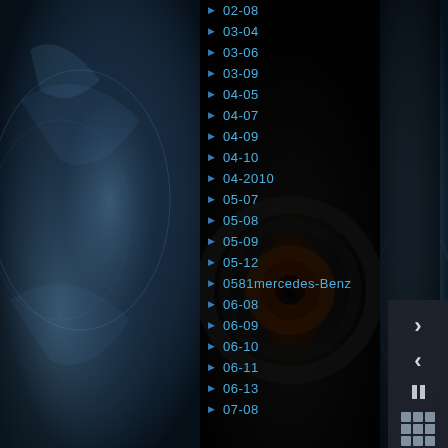[Figure (screenshot): Dark themed media player or file browser UI with decorative metallic/water splash background images on left and right panels. Center shows a dark circular mechanical/eye motif. A vertical list of navigation items is displayed in cyan/blue text with play arrow icons.]
02-08
03-04
03-06
03-09
04-05
04-07
04-09
04-10
04-2010
05-07
05-08
05-09
05-12
0581mercedes-Benz
06-08
06-09
06-10
06-11
06-13
07-08